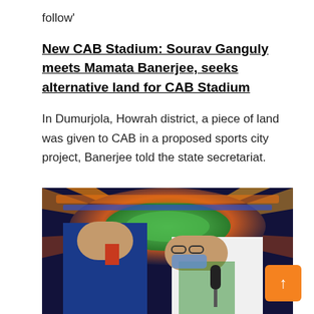follow'
New CAB Stadium: Sourav Ganguly meets Mamata Banerjee, seeks alternative land for CAB Stadium
In Dumurjola, Howrah district, a piece of land was given to CAB in a proposed sports city project, Banerjee told the state secretariat.
[Figure (photo): Photo of Sourav Ganguly and Mamata Banerjee against a cricket stadium background]